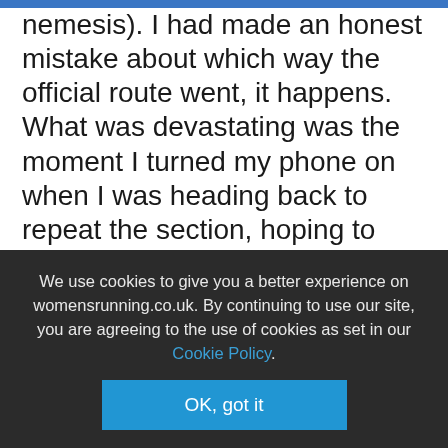nemesis). I had made an honest mistake about which way the official route went, it happens. What was devastating was the moment I turned my phone on when I was heading back to repeat the section, hoping to catch some of the encouragement that people had been sending me, and seeing comments under a call out someone had made on my behalf for help, accusing me of cheating. That hurt way more than 11 extra miles or losing a day.

"But, by the time I had crossed into Cornwall for the 2nd time that day I had to make a choice – I could let it crush me, or I could come back swinging. So I chose to fight it"
We use cookies to give you a better experience on womensrunning.co.uk. By continuing to use our site, you are agreeing to the use of cookies as set in our Cookie Policy.
OK, got it